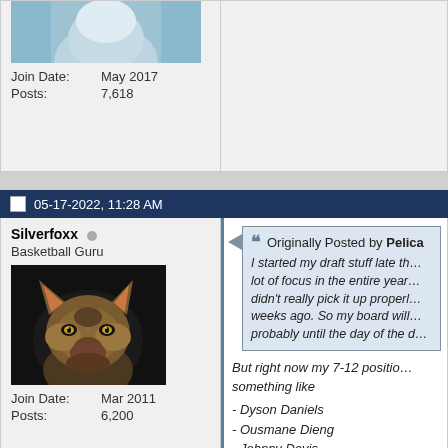[Figure (photo): Partial avatar photo of a person in light blue shirt, cropped at top]
Join Date: May 2017
Posts: 7,618
05-17-2022, 11:28 AM
Silverfoxx
Basketball Guru
[Figure (photo): Close-up photo of a fox face with orange and grey fur, glowing yellow eyes, dark background]
Join Date: Mar 2011
Posts: 6,200
Originally Posted by Pelica...
I started my draft stuff late th... a lot of focus in the entire year... didn't really pick it up properl... weeks ago. So my board will... probably until the day of the d...
But right now my 7-12 posito... something like
- Dyson Daniels
- Ousmane Dieng
- Johnny Davis
- Bennedict Mathurin
- Tari Eason
- Jeremy Sochan
In some kind of order. Yet to...
My top 4 are Chet, Ivey, Ban...